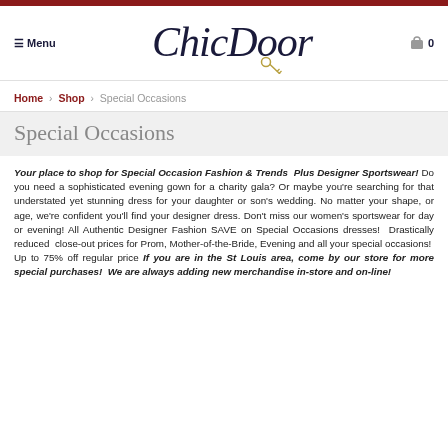≡ Menu  ChicDoor  0
Home > Shop > Special Occasions
Special Occasions
Your place to shop for Special Occasion Fashion & Trends  Plus Designer Sportswear! Do you need a sophisticated evening gown for a charity gala? Or maybe you're searching for that understated yet stunning dress for your daughter or son's wedding. No matter your shape, or age, we're confident you'll find your designer dress. Don't miss our women's sportswear for day or evening! All Authentic Designer Fashion SAVE on Special Occasions dresses!  Drastically reduced  close-out prices for Prom, Mother-of-the-Bride, Evening and all your special occasions!  Up to 75% off regular price If you are in the St Louis area, come by our store for more special purchases!  We are always adding new merchandise in-store and on-line!